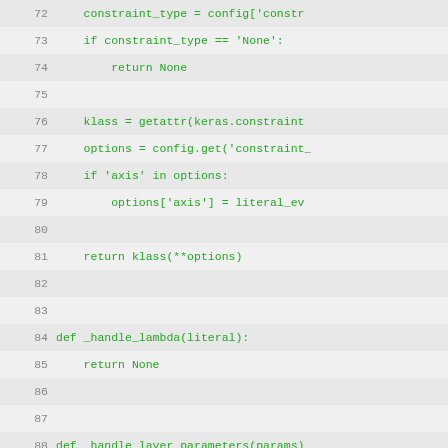[Figure (screenshot): Python source code viewer showing lines 72-103, with green monospace text on light gray background. Line numbers on left in gray. Code shows functions including constraint handling and _handle_lambda and _handle_layer_parameters functions.]